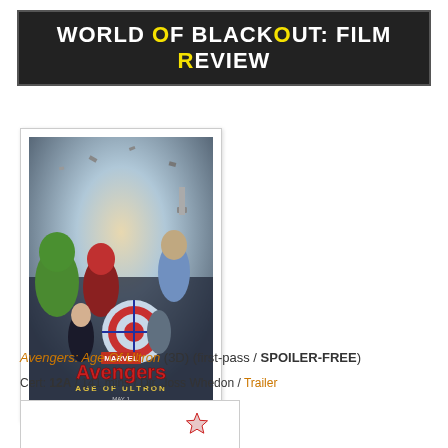[Figure (logo): World of Blackout: Film Review banner with dark background and yellow highlighted letters O and R]
[Figure (photo): Avengers: Age of Ultron movie poster featuring the Avengers team with the Marvel logo and title text, release date May 1]
Avengers: Age Of Ultron (3D) (first-pass / SPOILER-FREE)
Cert: 12A / 141 mins / Dir. Joss Whedon / Trailer
[Figure (other): Star rating showing 7 out of 8 red stars]